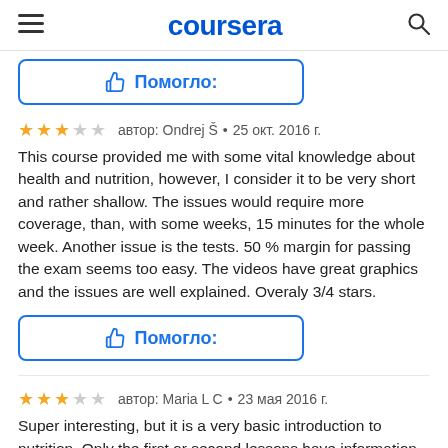coursera
[Figure (other): Helped button (top, partial) with thumbs-up icon and Cyrillic text Помогло:]
автор: Ondrej Š • 25 окт. 2016 г. [3 stars out of 5]
This course provided me with some vital knowledge about health and nutrition, however, I consider it to be very short and rather shallow. The issues would require more coverage, than, with some weeks, 15 minutes for the whole week. Another issue is the tests. 50 % margin for passing the exam seems too easy. The videos have great graphics and the issues are well explained. Overaly 3/4 stars.
[Figure (other): Helped button with thumbs-up icon and Cyrillic text Помогло:]
автор: Maria L C • 23 мая 2016 г. [3 stars out of 5]
Super interesting, but it is a very basic introduction to nutrition. Only the first or second lessons have information